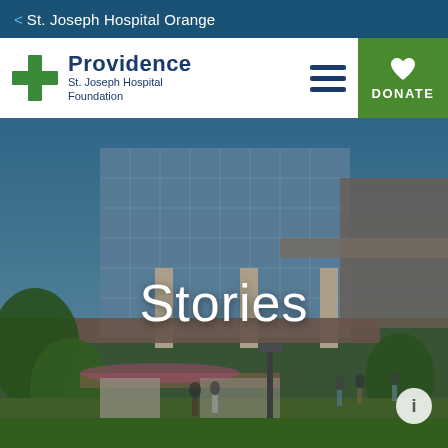< St. Joseph Hospital Orange
[Figure (logo): Providence St. Joseph Hospital Foundation logo with green cross icon and dark blue text]
[Figure (photo): Exterior photo of St. Joseph Hospital Orange building with modern glass facade, pedestrians, and landscaped grounds. Overlaid with the word 'Stories' in white text.]